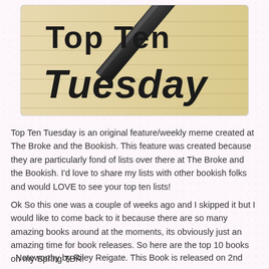[Figure (illustration): Top Ten Tuesday logo image showing handwritten text 'Top Ten Tuesday' on a lined notebook paper background with a pencil/pen diagonal across the upper right corner.]
Top Ten Tuesday is an original feature/weekly meme created at The Broke and the Bookish. This feature was created because they are particularly fond of lists over there at The Broke and the Bookish. I'd love to share my lists with other bookish folks and would LOVE to see your top ten lists!
Ok So this one was a couple of weeks ago and I skipped it but I would like to come back to it because there are so many amazing books around at the moments, its obviously just an amazing time for book releases. So here are the top 10 books on my Spring TBR!
Noteworthy by Riley Reigate. This Book is released on 2nd